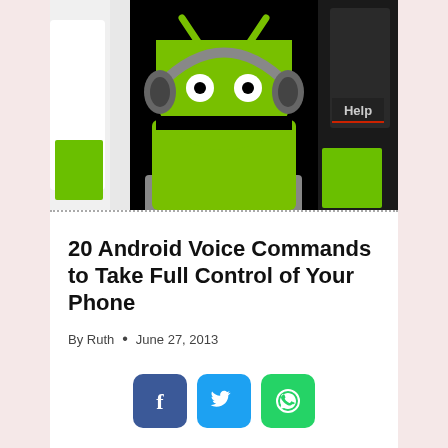[Figure (illustration): Android robot mascot wearing headphones, green body with white eyes, on black background. Left side shows partial white device, right side shows partial dark device with 'Help' label. Navigation arrows on both sides.]
20 Android Voice Commands to Take Full Control of Your Phone
By Ruth • June 27, 2013
[Figure (infographic): Social sharing buttons: Facebook (blue), Twitter (light blue), WhatsApp (green)]